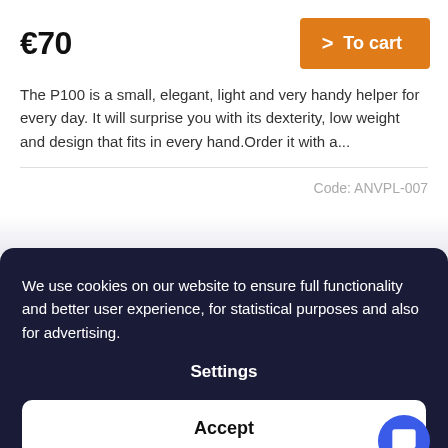€70
The P100 is a small, elegant, light and very handy helper for every day. It will surprise you with its dexterity, low weight and design that fits in every hand.Order it with a...
Code: ANVPL-007
We use cookies on our website to ensure full functionality and better user experience, for statistical purposes and also for advertising.
Settings
Accept